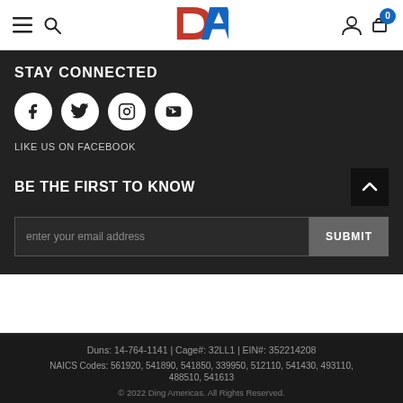DA logo header with navigation icons
STAY CONNECTED
[Figure (illustration): Four social media icon circles: Facebook, Twitter, Instagram, YouTube]
LIKE US ON FACEBOOK
BE THE FIRST TO KNOW
enter your email address [input field] SUBMIT [button]
Duns: 14-764-1141 | Cage#: 32LL1 | EIN#: 352214208
NAICS Codes: 561920, 541890, 541850, 339950, 512110, 541430, 493110, 488510, 541613
© 2022 Ding Americas. All Rights Reserved.